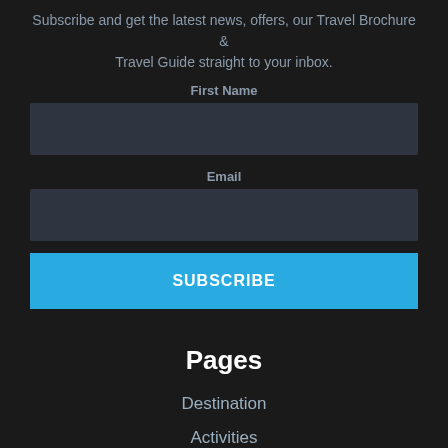Subscribe and get the latest news, offers, our Travel Brochure & Travel Guide straight to your inbox.
First Name
[Figure (other): First Name input field (dark background text box)]
Email
[Figure (other): Email input field (dark background text box)]
SUBSCRIBE
Pages
Destination
Activities
Information